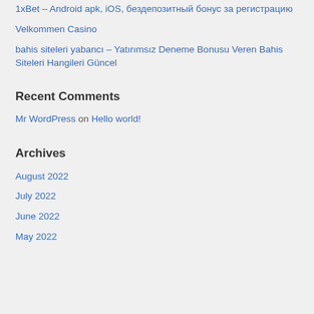1xBet – Android apk, iOS, бездепозитный бонус за регистрацию
Velkommen Casino
bahis siteleri yabancı – Yatırımsız Deneme Bonusu Veren Bahis Siteleri Hangileri Güncel
Recent Comments
Mr WordPress on Hello world!
Archives
August 2022
July 2022
June 2022
May 2022